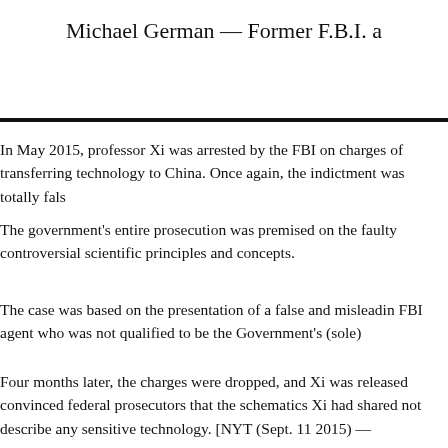Michael German — Former F.B.I. a
In May 2015, professor Xi was arrested by the FBI on charges of transferring technology to China. Once again, the indictment was totally fals
The government's entire prosecution was premised on the faulty controversial scientific principles and concepts.
The case was based on the presentation of a false and misleadin FBI agent who was not qualified to be the Government's (sole)
Four months later, the charges were dropped, and Xi was released convinced federal prosecutors that the schematics Xi had shared not describe any sensitive technology. [NYT (Sept. 11 2015) —